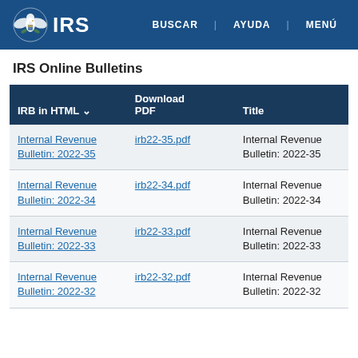IRS | BUSCAR | AYUDA | MENÚ
IRS Online Bulletins
| IRB in HTML | Download PDF | Title |
| --- | --- | --- |
| Internal Revenue Bulletin: 2022-35 | irb22-35.pdf | Internal Revenue Bulletin: 2022-35 |
| Internal Revenue Bulletin: 2022-34 | irb22-34.pdf | Internal Revenue Bulletin: 2022-34 |
| Internal Revenue Bulletin: 2022-33 | irb22-33.pdf | Internal Revenue Bulletin: 2022-33 |
| Internal Revenue Bulletin: 2022-32 | irb22-32.pdf | Internal Revenue Bulletin: 2022-32 |